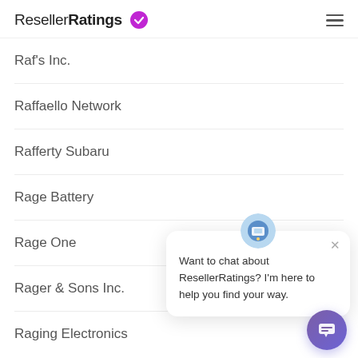ResellerRatings
Raf's Inc.
Raffaello Network
Rafferty Subaru
Rage Battery
Rage One
Rager & Sons Inc.
Raging Electronics
[Figure (screenshot): Chat popup widget with bot avatar and message: Want to chat about ResellerRatings? I'm here to help you find your way.]